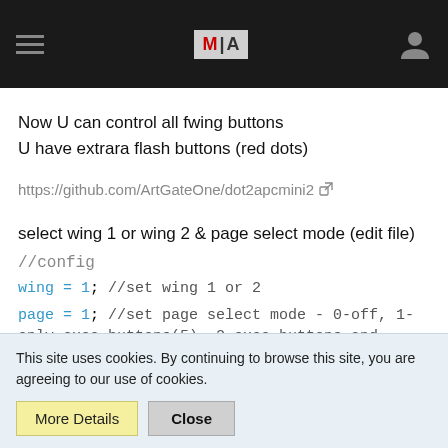MIA navigation header
Now U can control all fwing buttons
U have extrara flash buttons (red dots)
https://github.com/ArtGateOne/dot2apcmini2
select wing 1 or wing 2 & page select mode (edit file)
//config
wing = 1; //set wing 1 or 2
page = 1; //set page select mode - 0-off, 1-only exec buttons(5), 2-exec buttons and faders together(5)
midi_in = 'APC MINI 0'; //set correct midi in device name
This site uses cookies. By continuing to browse this site, you are agreeing to our use of cookies.